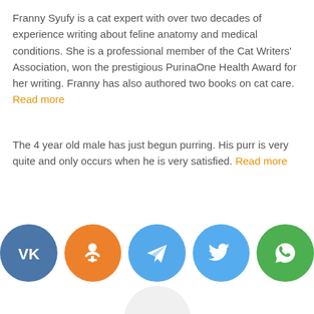Franny Syufy is a cat expert with over two decades of experience writing about feline anatomy and medical conditions. She is a professional member of the Cat Writers' Association, won the prestigious PurinaOne Health Award for her writing. Franny has also authored two books on cat care. Read more
The 4 year old male has just begun purring. His purr is very quite and only occurs when he is very satisfied. Read more
[Figure (infographic): Row of five social media sharing buttons: VK (blue), Odnoklassniki (orange), Telegram (light blue), Twitter (blue), WhatsApp (green). Below them a light grey circle with three dots indicating more options.]